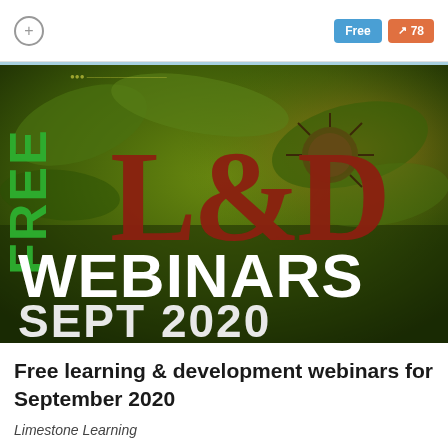[Figure (screenshot): Top navigation bar with a plus/circle icon on the left and two badges on the right: a blue 'Free' badge and an orange badge with an arrow and '78']
[Figure (photo): Promotional image with green leafy background. Text overlay reads: 'FREE' in green, 'L&D' in large dark red letters, 'WEBINARS' in large white bold letters, 'SEPT 2020' in large white bold letters at the bottom.]
Free learning & development webinars for September 2020
Limestone Learning